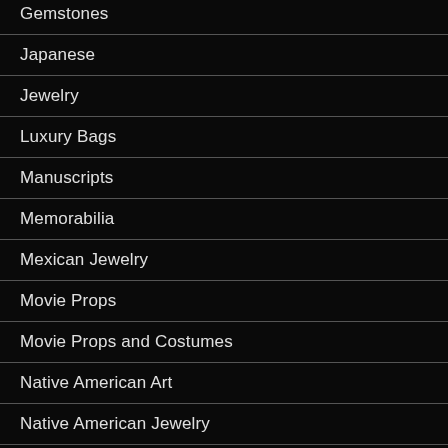Gemstones
Japanese
Jewelry
Luxury Bags
Manuscripts
Memorabilia
Mexican Jewelry
Movie Props
Movie Props and Costumes
Native American Art
Native American Jewelry
Real Estate
Rugs